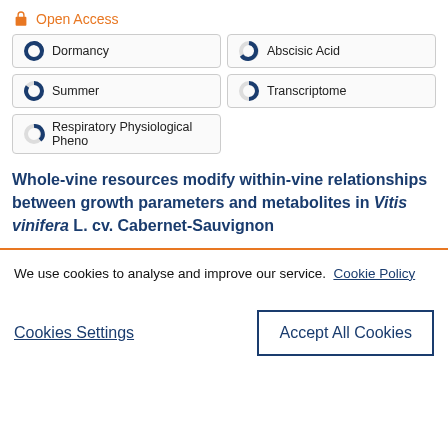Open Access
Dormancy
Abscisic Acid
Summer
Transcriptome
Respiratory Physiological Pheno
Whole-vine resources modify within-vine relationships between growth parameters and metabolites in Vitis vinifera L. cv. Cabernet-Sauvignon
We use cookies to analyse and improve our service. Cookie Policy
Cookies Settings
Accept All Cookies